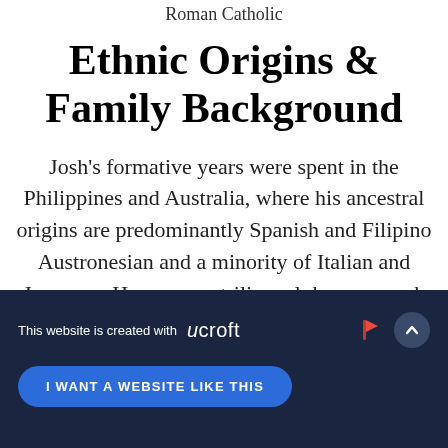Roman Catholic
Ethnic Origins & Family Background
Josh's formative years were spent in the Philippines and Australia, where his ancestral origins are predominantly Spanish and Filipino Austronesian and a minority of Italian and Japanese. He grew up trilingual: he can speak English, Spanish, and Tagalog. Prior to
This website is created with ucroft | I WANT A WEBSITE LIKE THIS